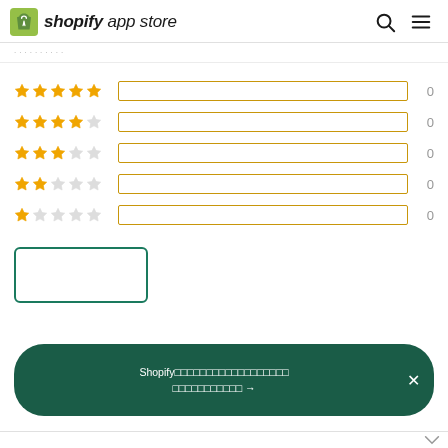shopify app store
[Figure (infographic): Rating breakdown showing 5 rows: 5-star to 1-star ratings each with an empty golden bar and count of 0]
[Figure (other): Empty green-bordered button for writing a review]
Shopify□□□□□□□□□□□□□□□□□□ □□□□□□□□□□□ →